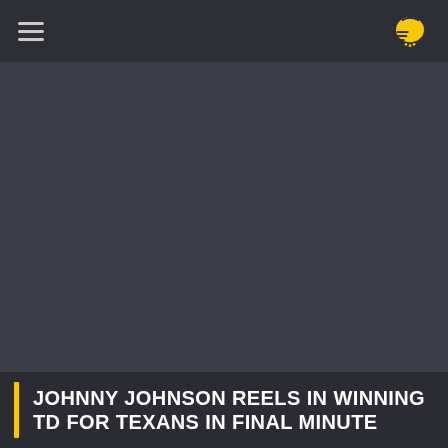Navigation bar with hamburger menu and logo
[Figure (photo): Dark gray placeholder image area representing a sports photo]
JOHNNY JOHNSON REELS IN WINNING TD FOR TEXANS IN FINAL MINUTE